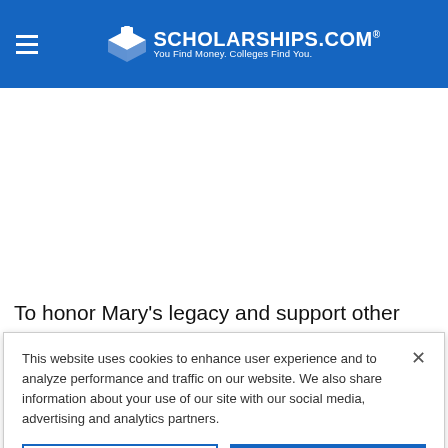SCHOLARSHIPS.COM® — You Find Money. Colleges Find You.
To honor Mary's legacy and support other accomplished
This website uses cookies to enhance user experience and to analyze performance and traffic on our website. We also share information about your use of our site with our social media, advertising and analytics partners.